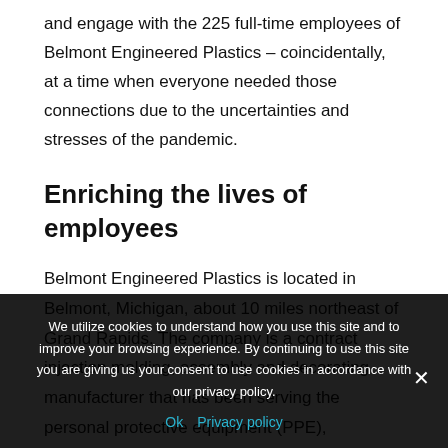and engage with the 225 full-time employees of Belmont Engineered Plastics – coincidentally, at a time when everyone needed those connections due to the uncertainties and stresses of the pandemic.
Enriching the lives of employees
Belmont Engineered Plastics is located in Belmont, Michigan, about 10 miles northeast of Grand Rapids. The company is a contract injection molding, assembly and decorating manufacturer that has been serving the personal protective equipment (PPE), automotive, consumer products and industrial markets since it opened in 2013 after
We utilize cookies to understand how you use this site and to improve your browsing experience. By continuing to use this site you are giving us your consent to use cookies in accordance with our privacy policy.
Ok   Privacy policy